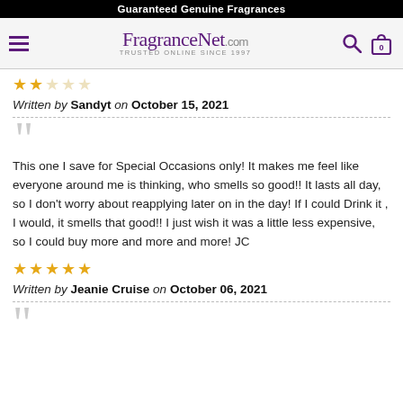Guaranteed Genuine Fragrances
[Figure (logo): FragranceNet.com logo with hamburger menu, search icon, and cart icon with 0 items]
[Figure (other): 2 filled gold stars and 3 empty stars rating]
Written by Sandyt on October 15, 2021
This one I save for Special Occasions only! It makes me feel like everyone around me is thinking, who smells so good!! It lasts all day, so I don't worry about reapplying later on in the day! If I could Drink it , I would, it smells that good!! I just wish it was a little less expensive, so I could buy more and more and more! JC
[Figure (other): 5 filled gold stars rating]
Written by Jeanie Cruise on October 06, 2021